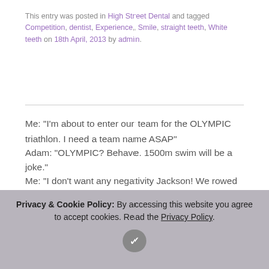This entry was posted in High Street Dental and tagged Competition, dentist, Experience, Smile, straight teeth, White teeth on 18th April, 2013 by admin.
Me: “I’m about to enter our team for the OLYMPIC triathlon. I need a team name ASAP”
Adam: “OLYMPIC? Behave. 1500m swim will be a joke.”
Me: “I don’t want any negativity Jackson! We rowed the Channel, not the Thames!”
Adam: “The running and cycling doesn’t faze me, but swimming is tough man!”
Me: “So we have lessons. I can’t swim either. We go to one of the local swimming baths together and get on it.”
Adam: “F*** it, alright then! We’ll smash it!”
Me: “YES Jackson!!! You make me proud.”
Privacy & Cookie Policy: By accessing this website you agree to accept cookies. Read the Privacy Policy.